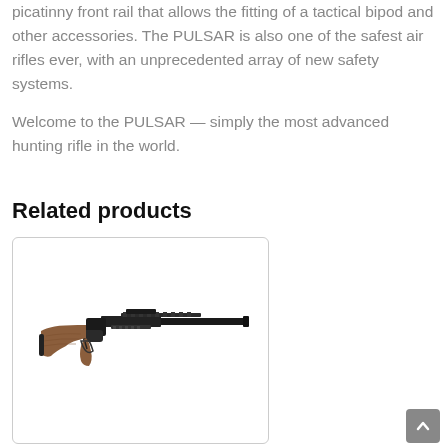picatinny front rail that allows the fitting of a tactical bipod and other accessories. The PULSAR is also one of the safest air rifles ever, with an unprecedented array of new safety systems.
Welcome to the PULSAR — simply the most advanced hunting rifle in the world.
Related products
[Figure (photo): Photo of an air rifle (PULSAR) with wooden stock and long barrel, shown in profile view from the left side.]